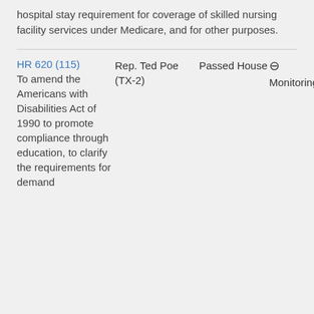hospital stay requirement for coverage of skilled nursing facility services under Medicare, and for other purposes.
HR 620 (115) To amend the Americans with Disabilities Act of 1990 to promote compliance through education, to clarify the requirements for demand
Rep. Ted Poe (TX-2)
Passed House
Monitoring